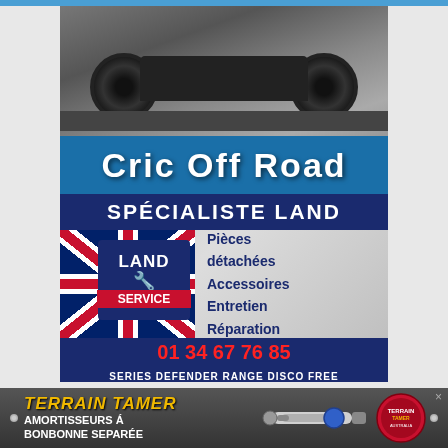[Figure (photo): Cric Off Road advertisement showing an off-road vehicle with large rubber tracks/wheels, with 'Cric Off Road' text on a blue banner]
[Figure (photo): Land Service advertisement showing UK flag with Land Service badge, phone number 01 34 67 76 85, and services: Pièces détachées, Accessoires, Entretien, Réparation. Text: SPÉCIALISTE LAND, SERIES DEFENDER RANGE DISCO FREE]
Rejoignez nous sur Facebook
[Figure (photo): Terrain Tamer banner advertisement showing a shock absorber, text: TERRAIN TAMER, AMORTISSEURS Á BONBONNE SEPARÉE]